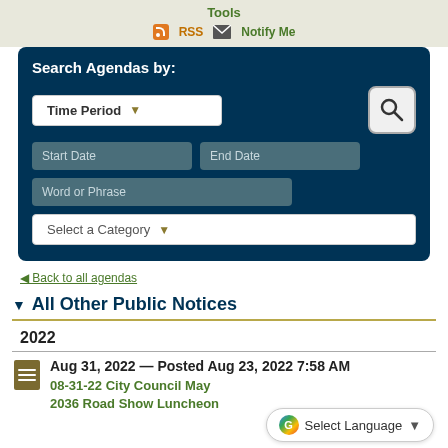Tools
RSS  Notify Me
Search Agendas by:
[Figure (screenshot): Search form with Time Period dropdown, Start Date, End Date, Word or Phrase, Select a Category fields and search button]
◄ Back to all agendas
▼ All Other Public Notices
2022
Aug 31, 2022 — Posted Aug 23, 2022 7:58 AM
08-31-22 City Council May 2036 Road Show Luncheon